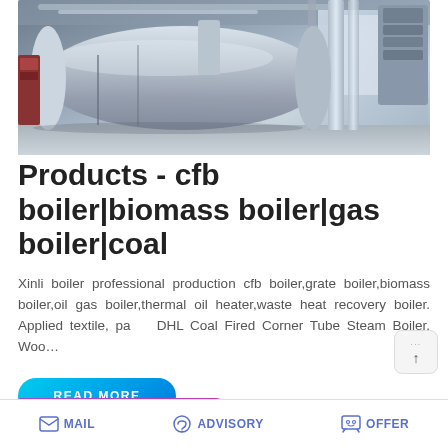[Figure (photo): Industrial boiler facility interior showing a large silver cylindrical boiler unit with vertical pipes and industrial equipment in a factory setting]
Products - cfb boiler|biomass boiler|gas boiler|coal
Xinli boiler professional production cfb boiler,grate boiler,biomass boiler,oil gas boiler,thermal oil heater,waste heat recovery boiler. Applied textile, paper DHL Coal Fired Corner Tube Steam Boiler. Woo...
MAIL  ADVISORY  OFFER